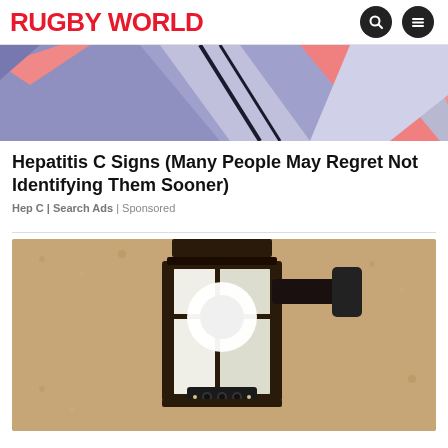RUGBY WORLD
[Figure (illustration): Abstract colorful illustration with purple, blue, pink shapes and diagonal lines — partial top crop]
Hepatitis C Signs (Many People May Regret Not Identifying Them Sooner)
Hep C | Search Ads | Sponsored
[Figure (photo): Photograph of a wall-mounted outdoor lantern light fixture with a camera module at the bottom, mounted on a textured stucco wall]